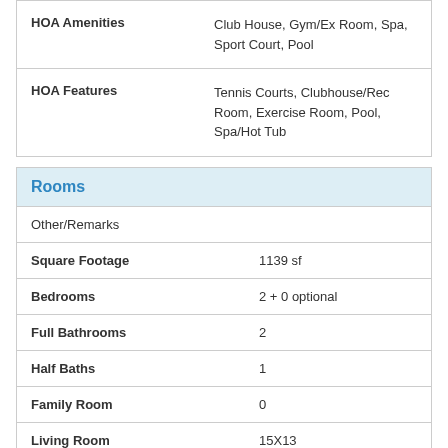| Field | Value |
| --- | --- |
| HOA Amenities | Club House, Gym/Ex Room, Spa, Sport Court, Pool |
| HOA Features | Tennis Courts, Clubhouse/Rec Room, Exercise Room, Pool, Spa/Hot Tub |
Rooms
| Field | Value |
| --- | --- |
| Other/Remarks |  |
| Square Footage | 1139 sf |
| Bedrooms | 2 + 0 optional |
| Full Bathrooms | 2 |
| Half Baths | 1 |
| Family Room | 0 |
| Living Room | 15X13 |
| Dining Room | 10X9 |